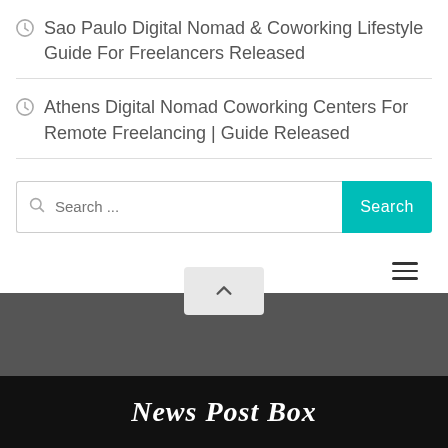Sao Paulo Digital Nomad & Coworking Lifestyle Guide For Freelancers Released
Athens Digital Nomad Coworking Centers For Remote Freelancing | Guide Released
[Figure (screenshot): Search bar with teal Search button]
[Figure (screenshot): Hamburger menu icon (three horizontal lines)]
[Figure (screenshot): Back to top button with upward chevron arrow]
[Figure (logo): News Post Box logo on black background]